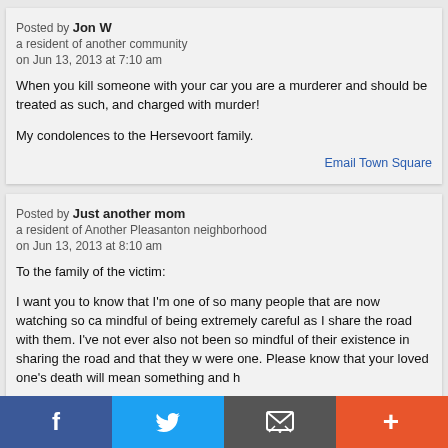Posted by Jon W
a resident of another community
on Jun 13, 2013 at 7:10 am
When you kill someone with your car you are a murderer and should be treated as such, and charged with murder!

My condolences to the Hersevoort family.
Email Town Square
Posted by Just another mom
a resident of Another Pleasanton neighborhood
on Jun 13, 2013 at 8:10 am
To the family of the victim:

I want you to know that I'm one of so many people that are now watching so ca... mindful of being extremely careful as I share the road with them. I've not ever... also not been so mindful of their existence in sharing the road and that they w... were one. Please know that your loved one's death will mean something and h...